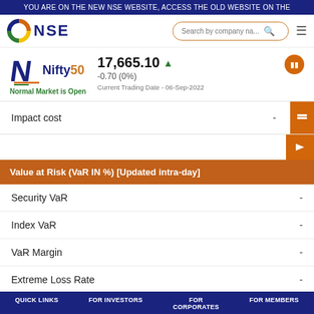YOU ARE ON THE NEW NSE WEBSITE, ACCESS THE OLD WEBSITE ON THE
[Figure (screenshot): NSE logo with circular multicolor icon and bold NSE text, search bar, hamburger menu]
[Figure (screenshot): Nifty 50 index logo with value 17,665.10 up arrow, change -0.70 (0%), Normal Market is Open, Current Trading Date - 06-Sep-2022, pause button]
Impact cost	-
Value at Risk (VaR IN %) [Updated intra-day]
|  |  |
| --- | --- |
| Security VaR | - |
| Index VaR | - |
| VaR Margin | - |
| Extreme Loss Rate | - |
| Adhoc Margin | - |
| Applicable Margin Rate | - |
QUICK LINKS   FOR INVESTORS   FOR CORPORATES   FOR MEMBERS